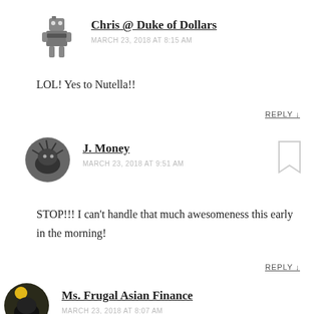[Figure (illustration): Robot avatar icon for commenter Chris @ Duke of Dollars]
Chris @ Duke of Dollars
MARCH 23, 2018 AT 8:15 AM
LOL! Yes to Nutella!!
REPLY ↓
[Figure (photo): Circular grayscale avatar photo for commenter J. Money]
J. Money
MARCH 23, 2018 AT 9:51 AM
STOP!!! I can't handle that much awesomeness this early in the morning!
REPLY ↓
[Figure (photo): Circular avatar photo with sunflower for commenter Ms. Frugal Asian Finance]
Ms. Frugal Asian Finance
MARCH 23, 2018 AT 8:07 AM